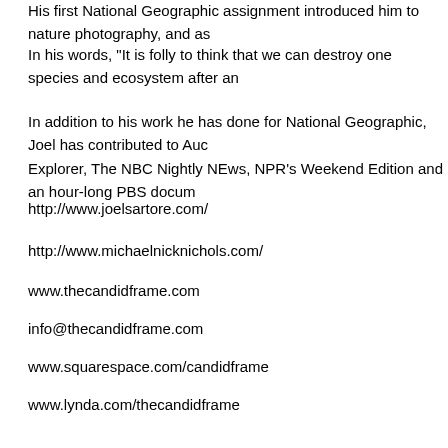His first National Geographic assignment introduced him to nature photography, and as...
In his words, "It is folly to think that we can destroy one species and ecosystem after an...
In addition to his work he has done for National Geographic, Joel has contributed to Auc... Explorer, The NBC Nightly NEws, NPR's Weekend Edition and an hour-long PBS docu...
http://www.joelsartore.com/
http://www.michaelnicknichols.com/
www.thecandidframe.com
info@thecandidframe.com
www.squarespace.com/candidframe
www.lynda.com/thecandidframe
Direct download: The_Candid_Frame_219_-_Joel_Sartore.mp3
Category:photography -- posted at: 8:39pm PDT
Sat, 8 February 2014
Special Announcment - Listener Survey